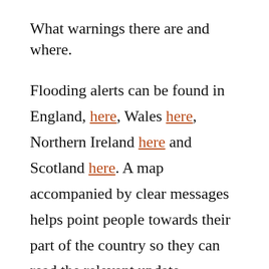What warnings there are and where.
Flooding alerts can be found in England, here, Wales here, Northern Ireland here and Scotland here. A map accompanied by clear messages helps point people towards their part of the country so they can read the relevant update.
But aside from gov.uk a page on the council website can be handy to provide extra information. But if the CMS is...